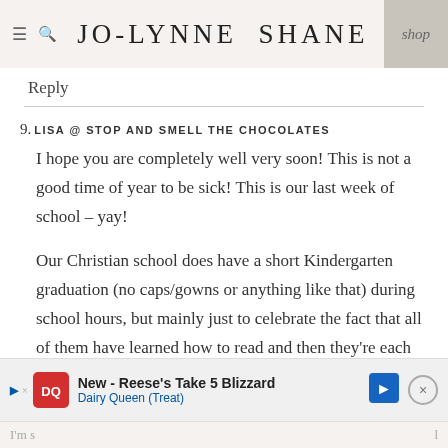JO-LYNNE SHANE | shop
Reply
9. LISA @ STOP AND SMELL THE CHOCOLATES

I hope you are completely well very soon! This is not a good time of year to be sick! This is our last week of school – yay!

Our Christian school does have a short Kindergarten graduation (no caps/gowns or anything like that) during school hours, but mainly just to celebrate the fact that all of them have learned how to read and then they're each presented with their own Bible.
[Figure (infographic): Dairy Queen advertisement banner: New - Reese's Take 5 Blizzard, Dairy Queen (Treat), with DQ logo, play button, navigation arrow, and close button]